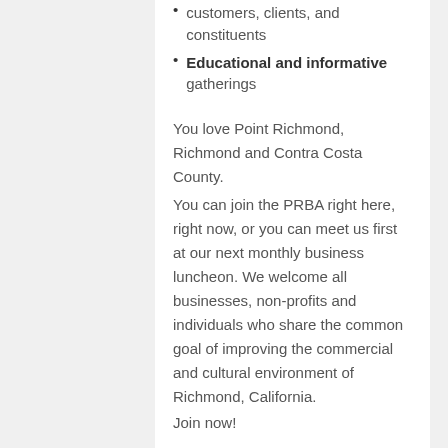customers, clients, and constituents
Educational and informative gatherings
You love Point Richmond, Richmond and Contra Costa County.
You can join the PRBA right here, right now, or you can meet us first at our next monthly business luncheon. We welcome all businesses, non-profits and individuals who share the common goal of improving the commercial and cultural environment of Richmond, California.
Join now!
PRBA Membership is $100 per year.